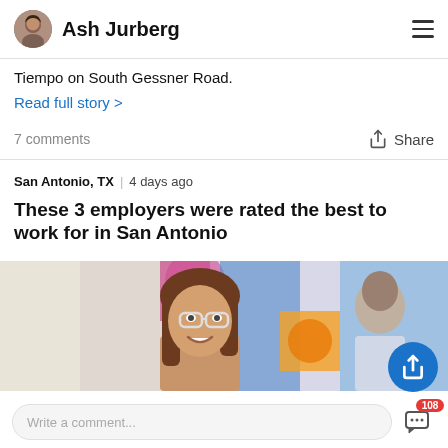Ash Jurberg
Tiempo on South Gessner Road.
Read full story >
7 comments
Share
San Antonio, TX  4 days ago
These 3 employers were rated the best to work for in San Antonio
[Figure (photo): A smiling woman with glasses and brown hair in a colorful office environment, with colleagues visible in the background.]
Write a comment...